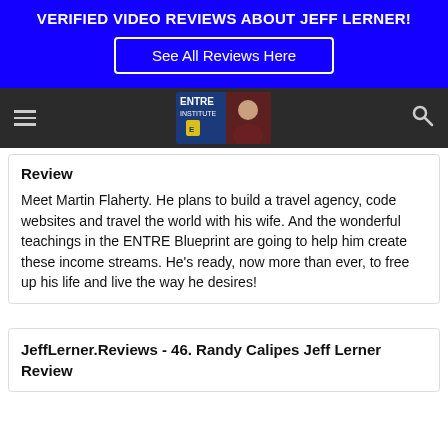VERIFIED VIDEO REVIEWS ABOUT JEFF LERNER!
[Figure (screenshot): Blue banner with 'See All Reviews Here' button]
[Figure (logo): ENTRE Institute logo with person's face, dark navigation bar with hamburger menu and search icon]
Review
Meet Martin Flaherty. He plans to build a travel agency, code websites and travel the world with his wife. And the wonderful teachings in the ENTRE Blueprint are going to help him create these income streams. He's ready, now more than ever, to free up his life and live the way he desires!
JeffLerner.Reviews - 46. Randy Calipes Jeff Lerner Review